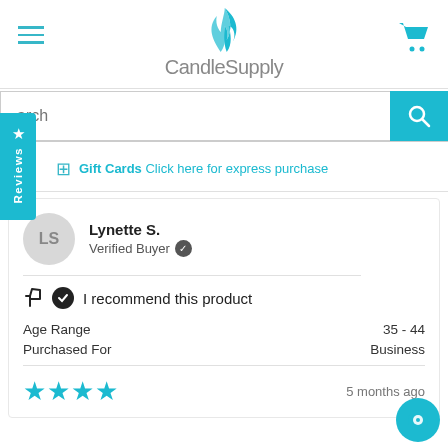[Figure (logo): CandleSupply logo with flame icon in teal/blue]
arch (search bar placeholder)
Gift Cards Click here for express purchase
Lynette S.
Verified Buyer
I recommend this product
Age Range	35 - 44
Purchased For	Business
5 months ago